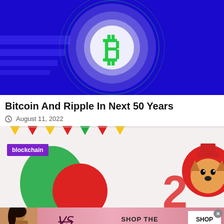[Figure (illustration): Bitcoin logo (green B symbol in a circle) on a blue digital background with glowing light effects]
Bitcoin And Ripple In Next 50 Years
August 11, 2022
[Figure (illustration): Crypto meme coins image with colorful balloons, red circular tokens, and a Shiba Inu dog coin icon on right, with a purple 'blockchain' badge overlay]
[Figure (illustration): Victoria's Secret advertisement banner showing a model, the VS logo, 'SHOP THE COLLECTION' text, and a 'SHOP NOW' button]